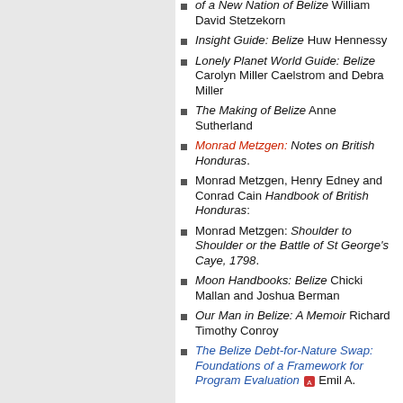of a New Nation of Belize William David Stetzekorn
Insight Guide: Belize Huw Hennessy
Lonely Planet World Guide: Belize Carolyn Miller Caelstrom and Debra Miller
The Making of Belize Anne Sutherland
Monrad Metzgen: Notes on British Honduras.
Monrad Metzgen, Henry Edney and Conrad Cain Handbook of British Honduras:
Monrad Metzgen: Shoulder to Shoulder or the Battle of St George's Caye, 1798.
Moon Handbooks: Belize Chicki Mallan and Joshua Berman
Our Man in Belize: A Memoir Richard Timothy Conroy
The Belize Debt-for-Nature Swap: Foundations of a Framework for Program Evaluation Emil A.